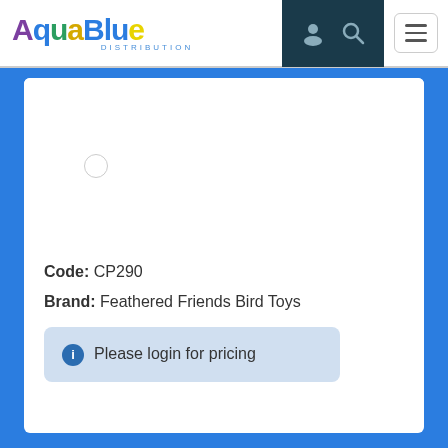[Figure (logo): AquaBlue Distribution logo with colorful stylized text and small character illustration]
[Figure (photo): Product image area with a small placeholder circle, image not loaded]
Code: CP290
Brand: Feathered Friends Bird Toys
Please login for pricing